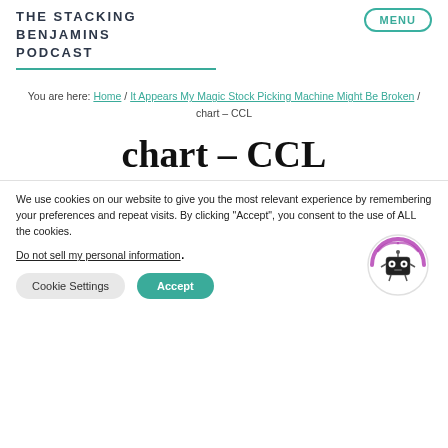THE STACKING BENJAMINS PODCAST
You are here: Home / It Appears My Magic Stock Picking Machine Might Be Broken / chart – CCL
chart – CCL
We use cookies on our website to give you the most relevant experience by remembering your preferences and repeat visits. By clicking "Accept", you consent to the use of ALL the cookies.
Do not sell my personal information.